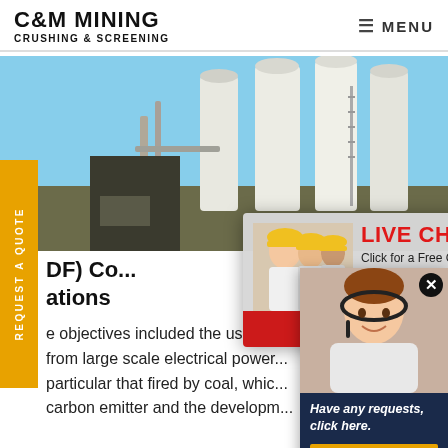C&M MINING CRUSHING & SCREENING | MENU
[Figure (photo): Industrial mining/crushing plant with large white silos and conveyor equipment against a blue sky; worker visible in foreground]
[Figure (photo): Live Chat popup with workers in yellow hard hats; LIVE CHAT heading, 'Click for a Free Consultation', Chat now and Chat later buttons]
[Figure (photo): Customer service agent (woman with headset) with 'Have any requests, click here.' text and Quotation button on dark blue background]
OF) Co... ations
e objectives included the use of... from large scale electrical power... particular that fired by coal, which... carbon emitter and the developm...